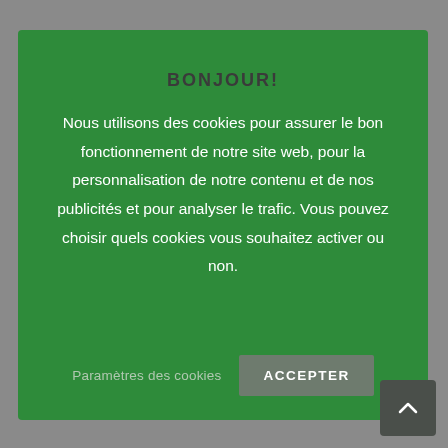BONJOUR!
Nous utilisons des cookies pour assurer le bon fonctionnement de notre site web, pour la personnalisation de notre contenu et de nos publicités et pour analyser le trafic. Vous pouvez choisir quels cookies vous souhaitez activer ou non.
Paramètres des cookies
ACCEPTER